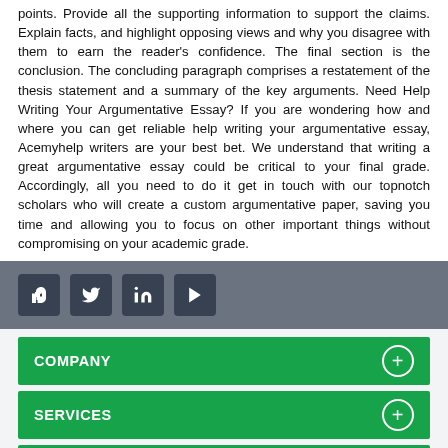points. Provide all the supporting information to support the claims. Explain facts, and highlight opposing views and why you disagree with them to earn the reader's confidence. The final section is the conclusion. The concluding paragraph comprises a restatement of the thesis statement and a summary of the key arguments. Need Help Writing Your Argumentative Essay? If you are wondering how and where you can get reliable help writing your argumentative essay, Acemyhelp writers are your best bet. We understand that writing a great argumentative essay could be critical to your final grade. Accordingly, all you need to do it get in touch with our topnotch scholars who will create a custom argumentative paper, saving you time and allowing you to focus on other important things without compromising on your academic grade.
[Figure (other): Social media icons bar: Facebook, Twitter, LinkedIn, YouTube]
COMPANY
SERVICES
QUICK LINKS